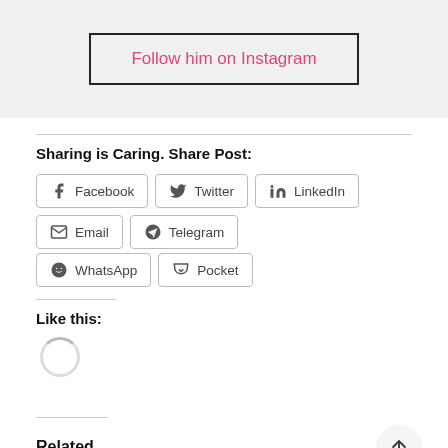[Figure (other): Follow him on Instagram button with black border on light gray background]
Sharing is Caring. Share Post:
Facebook  Twitter  LinkedIn  Email  Telegram  WhatsApp  Pocket
Like this:
[Figure (other): Loading spinner circle]
Related